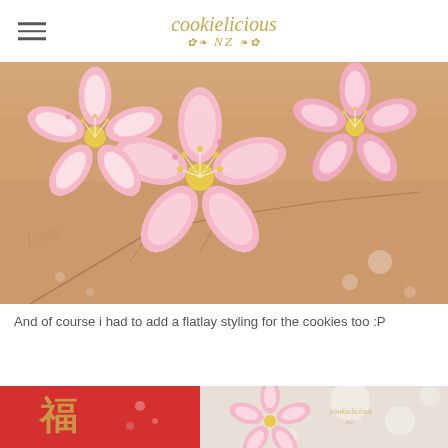cookielicious NZ
[Figure (photo): Close-up flatlay photo of pink cherry blossom shaped decorated cookies with gold stamen details, arranged on a kraft paper surface with cherry blossom branch illustrations]
And of course i had to add a flatlay styling for the cookies too :P
[Figure (photo): Partial view of a second flatlay photo showing a red envelope with gold Chinese characters and a pink cherry blossom cookie, with bokeh background and Cookielicious NZ watermark]